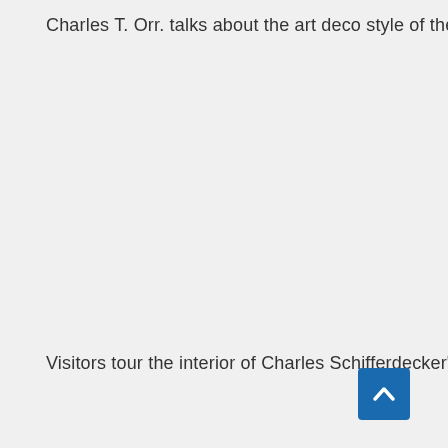Charles T. Orr. talks about the art deco style of the mausoleum and the mining industry.
Visitors tour the interior of Charles Schifferdecker's mausoleum.
[Figure (other): Back to top button — blue square button with white upward chevron arrow]